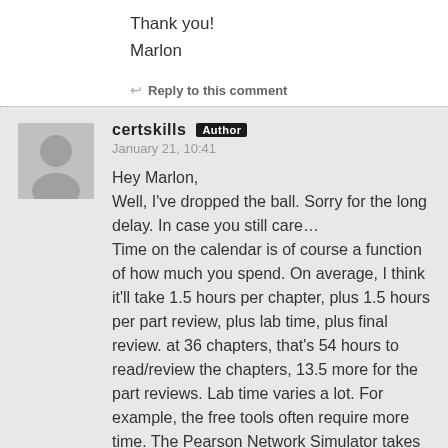Thank you!
Marlon
↩ Reply to this comment
certskills Author
January 21, 10:41
Hey Marlon,
Well, I've dropped the ball. Sorry for the long delay. In case you still care…
Time on the calendar is of course a function of how much you spend. On average, I think it'll take 1.5 hours per chapter, plus 1.5 hours per part review, plus lab time, plus final review. at 36 chapters, that's 54 hours to read/review the chapters, 13.5 more for the part reviews. Lab time varies a lot. For example, the free tools often require more time. The Pearson Network Simulator takes you 10 minutes to buy download and start learning with scripted labs, but costs $. But I'd say 30-60 hour of labbing, and another 20 hours of review at the end. What's that in total? 110-140.
Finally, if you are able to get a good rythm, do